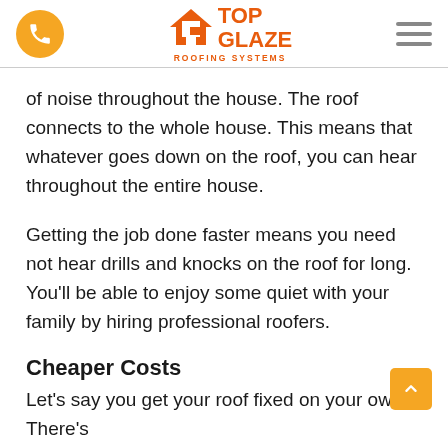Top Glaze Roofing Systems
of noise throughout the house. The roof connects to the whole house. This means that whatever goes down on the roof, you can hear throughout the entire house.
Getting the job done faster means you need not hear drills and knocks on the roof for long. You'll be able to enjoy some quiet with your family by hiring professional roofers.
Cheaper Costs
Let's say you get your roof fixed on your own. There's